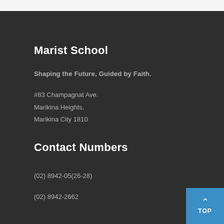Marist School
Shaping the Future, Guided by Faith.
#83 Champagnat Ave.
Marikina Heights,
Marikina City 1810
Contact Numbers
(02) 8942-05(26-28)
(02) 8942-2662